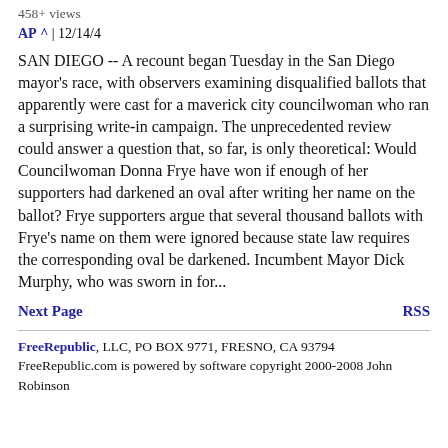458+ views
AP ^ | 12/14/4
SAN DIEGO -- A recount began Tuesday in the San Diego mayor's race, with observers examining disqualified ballots that apparently were cast for a maverick city councilwoman who ran a surprising write-in campaign. The unprecedented review could answer a question that, so far, is only theoretical: Would Councilwoman Donna Frye have won if enough of her supporters had darkened an oval after writing her name on the ballot? Frye supporters argue that several thousand ballots with Frye's name on them were ignored because state law requires the corresponding oval be darkened. Incumbent Mayor Dick Murphy, who was sworn in for...
Next Page
RSS
FreeRepublic, LLC, PO BOX 9771, FRESNO, CA 93794 FreeRepublic.com is powered by software copyright 2000-2008 John Robinson